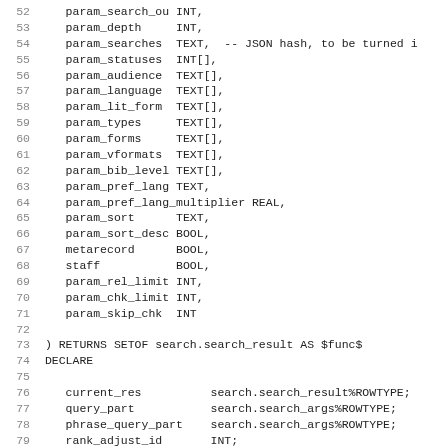Code listing lines 52-83 showing SQL function parameter declarations and variable declarations
52    param_search_ou INT,
53    param_depth     INT,
54    param_searches  TEXT,  -- JSON hash, to be turned in
55    param_statuses  INT[],
56    param_audience  TEXT[],
57    param_language  TEXT[],
58    param_lit_form  TEXT[],
59    param_types     TEXT[],
60    param_forms     TEXT[],
61    param_vformats  TEXT[],
62    param_bib_level TEXT[],
63    param_pref_lang TEXT,
64    param_pref_lang_multiplier REAL,
65    param_sort      TEXT,
66    param_sort_desc BOOL,
67    metarecord      BOOL,
68    staff           BOOL,
69    param_rel_limit INT,
70    param_chk_limit INT,
71    param_skip_chk  INT
72
73 ) RETURNS SETOF search.search_result AS $func$
74 DECLARE
75
76    current_res          search.search_result%ROWTYPE;
77    query_part           search.search_args%ROWTYPE;
78    phrase_query_part    search.search_args%ROWTYPE;
79    rank_adjust_id       INT;
80    core_rel_limit       INT;
81    core_chk_limit       INT;
82    core_skip_chk        INT;
83    rank_adjust          search.relevance_adjustment%ROW